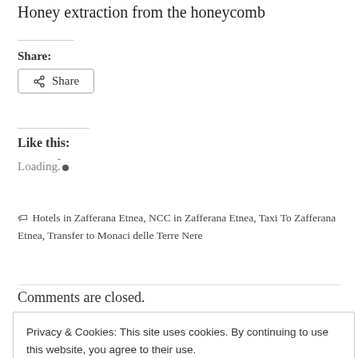Honey extraction from the honeycomb
Share:
Share
Like this:
Loading...
Hotels in Zafferana Etnea, NCC in Zafferana Etnea, Taxi To Zafferana Etnea, Transfer to Monaci delle Terre Nere
Comments are closed.
Privacy & Cookies: This site uses cookies. By continuing to use this website, you agree to their use. To find out more, including how to control cookies, see here: Cookie Policy
Close and accept